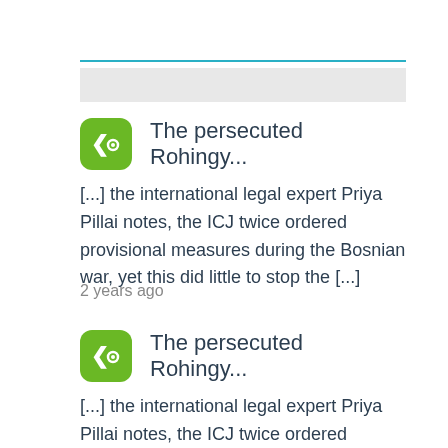[Figure (screenshot): Green app icon with left arrow and circle symbol, followed by title 'The persecuted Rohingy...']
[...] the international legal expert Priya Pillai notes, the ICJ twice ordered provisional measures during the Bosnian war, yet this did little to stop the [...]
2 years ago
[Figure (screenshot): Green app icon with left arrow and circle symbol, followed by title 'The persecuted Rohingy...']
[...] the international legal expert Priya Pillai notes, the ICJ twice ordered